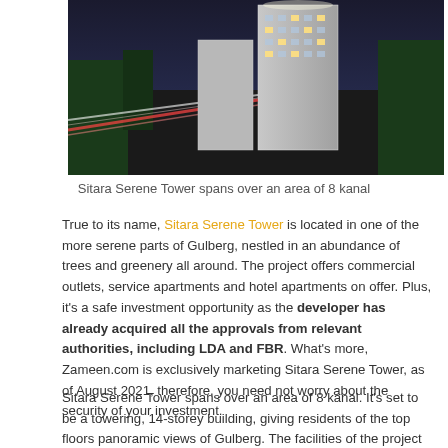[Figure (photo): Aerial/bird's eye view of Sitara Serene Tower, a tall modern building with light trails from traffic below, surrounded by trees at night]
Sitara Serene Tower spans over an area of 8 kanal
True to its name, Sitara Serene Tower is located in one of the more serene parts of Gulberg, nestled in an abundance of trees and greenery all around. The project offers commercial outlets, service apartments and hotel apartments on offer. Plus, it's a safe investment opportunity as the developer has already acquired all the approvals from relevant authorities, including LDA and FBR. What's more, Zameen.com is exclusively marketing Sitara Serene Tower, as of August 2021, therefore, you need not worry about the security of your investment.
Sitara Serene Tower spans over an area of 8 kanal. It's set to be a towering, 14-storey building, giving residents of the top floors panoramic views of Gulberg. The facilities of the project